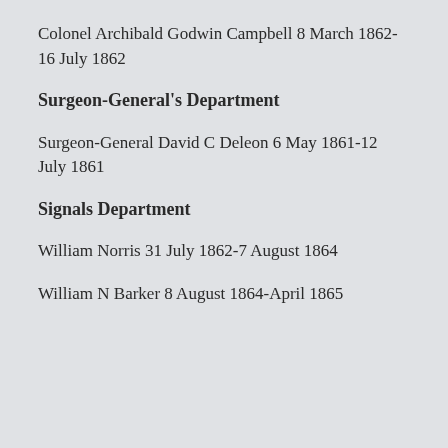Colonel Archibald Godwin Campbell 8 March 1862-16 July 1862
Surgeon-General's Department
Surgeon-General David C Deleon 6 May 1861-12 July 1861
Signals Department
William Norris 31 July 1862-7 August 1864
William N Barker 8 August 1864-April 1865